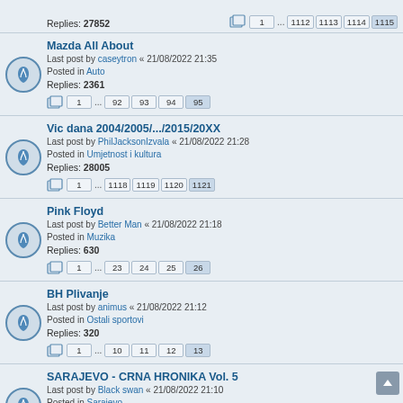Replies: 27852 | Pages: 1 ... 1112 1113 1114 1115
Mazda All About | Last post by caseytron « 21/08/2022 21:35 | Posted in Auto | Replies: 2361 | Pages: 1 ... 92 93 94 95
Vic dana 2004/2005/.../2015/20XX | Last post by PhilJacksonIzvala « 21/08/2022 21:28 | Posted in Umjetnost i kultura | Replies: 28005 | Pages: 1 ... 1118 1119 1120 1121
Pink Floyd | Last post by Better Man « 21/08/2022 21:18 | Posted in Muzika | Replies: 630 | Pages: 1 ... 23 24 25 26
BH Plivanje | Last post by animus « 21/08/2022 21:12 | Posted in Ostali sportovi | Replies: 320 | Pages: 1 ... 10 11 12 13
SARAJEVO - CRNA HRONIKA Vol. 5 | Last post by Black swan « 21/08/2022 21:10 | Posted in Sarajevo | Replies: 59380 | Pages: 1 ... 2373 2374 2375 2376
Novi Izborni zakon BiH | Last post by P.Starck « 21/08/2022 21:09 | Posted in Bosna i Hercegovina | Replies: 15760 | Pages: 1 ... 628 629 630 631